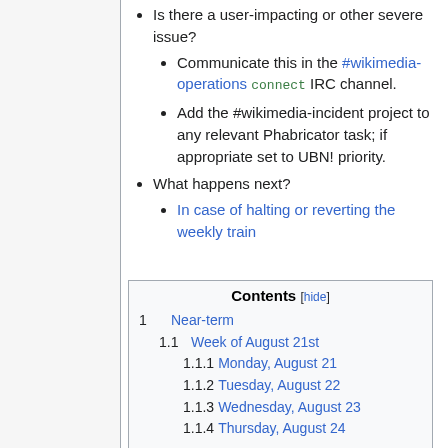Is there a user-impacting or other severe issue?
Communicate this in the #wikimedia-operations connect IRC channel.
Add the #wikimedia-incident project to any relevant Phabricator task; if appropriate set to UBN! priority.
What happens next?
In case of halting or reverting the weekly train
| Contents [hide] |
| --- |
| 1  Near-term |
| 1.1  Week of August 21st |
| 1.1.1  Monday, August 21 |
| 1.1.2  Tuesday, August 22 |
| 1.1.3  Wednesday, August 23 |
| 1.1.4  Thursday, August 24 |